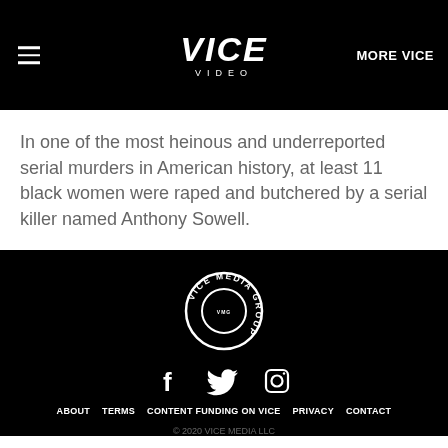VICE VIDEO | MORE VICE
In one of the most heinous and underreported serial murders in American history, at least 11 black women were raped and butchered by a serial killer named Anthony Sowell.
[Figure (logo): Vice Media Group circular logo in white on black background]
[Figure (illustration): Social media icons: Facebook, Twitter, Instagram]
ABOUT  TERMS  CONTENT FUNDING ON VICE  PRIVACY  CONTACT
© 2020 VICE MEDIA LLC